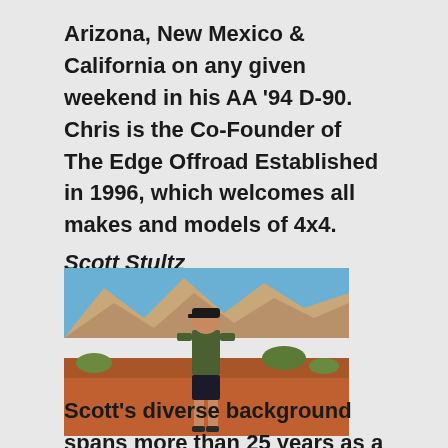Arizona, New Mexico & California on any given weekend in his AA '94 D-90.  Chris is the Co-Founder of The Edge Offroad Established in 1996, which welcomes all makes and models of 4x4.
Scott Stultz
[Figure (photo): Man standing outdoors in a desert/rocky landscape with red rock formations and sparse green shrubs in the background. He is wearing a dark cap, olive green t-shirt, and dark shorts.]
Scott's diverse background spans more than 25 years as a Navy airman, automotive research engineer,